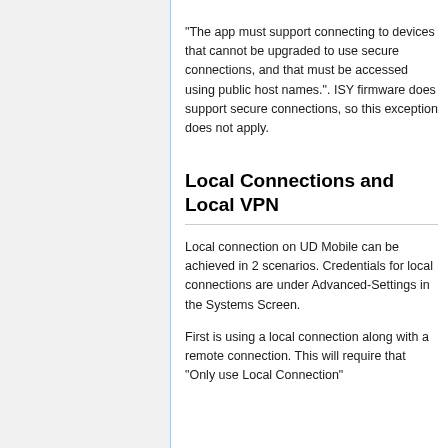"The app must support connecting to devices that cannot be upgraded to use secure connections, and that must be accessed using public host names.". ISY firmware does support secure connections, so this exception does not apply.
Local Connections and Local VPN
Local connection on UD Mobile can be achieved in 2 scenarios. Credentials for local connections are under Advanced-Settings in the Systems Screen.
First is using a local connection along with a remote connection. This will require that "Only use Local Connection"